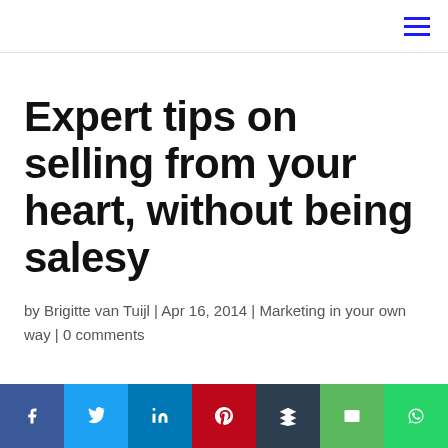Expert tips on selling from your heart, without being salesy
by Brigitte van Tuijl | Apr 16, 2014 | Marketing in your own way | 0 comments
[Figure (other): Social share bar with icons for Facebook, Twitter, LinkedIn, Pinterest, Buffer, Email, WhatsApp]